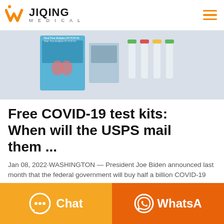W JIQING MEDICAL
[Figure (photo): COVID-19 RT-PCR test kit product photo showing a blue box and multiple test tubes/vials with colored caps (green, red, yellow, green) on a light grey background.]
Free COVID-19 test kits: When will the USPS mail them ...
Jan 08, 2022·WASHINGTON — President Joe Biden announced last month that the federal government will buy half a billion COVID-19 rapid test kits and
Chat
WhatsA